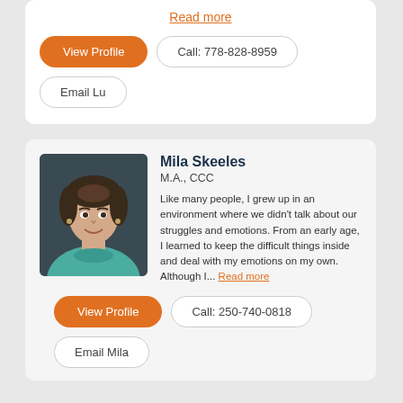Read more
View Profile
Call: 778-828-8959
Email Lu
[Figure (photo): Professional headshot of Mila Skeeles, woman with short dark hair wearing a teal turtleneck sweater, against a dark background]
Mila Skeeles
M.A., CCC
Like many people, I grew up in an environment where we didn't talk about our struggles and emotions. From an early age, I learned to keep the difficult things inside and deal with my emotions on my own. Although I... Read more
View Profile
Call: 250-740-0818
Email Mila